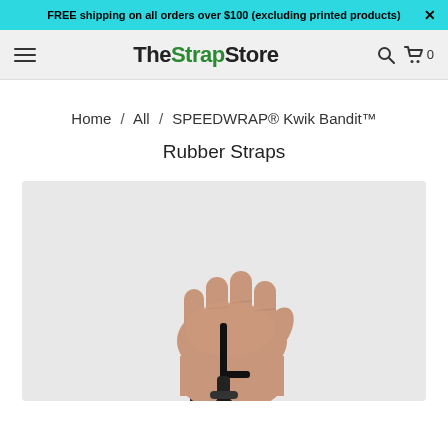FREE shipping on all orders over $100 (excluding printed products)  ×
TheStrapStore
Home / All / SPEEDWRAP® Kwik Bandit™ Rubber Straps
[Figure (photo): A hand gripping a black rubber strap / Kwik Bandit product, shown against a light grey background.]